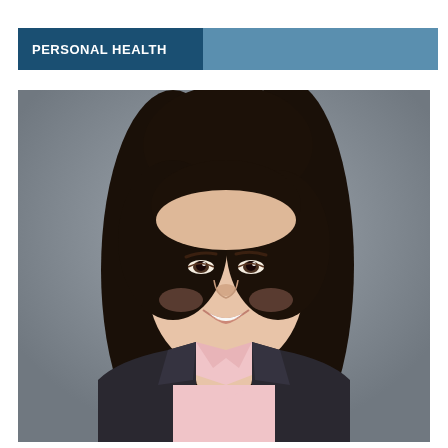PERSONAL HEALTH
[Figure (photo): Professional headshot of an Asian woman with long dark hair, smiling, wearing a black blazer over a light pink collared shirt, photographed against a grey background.]